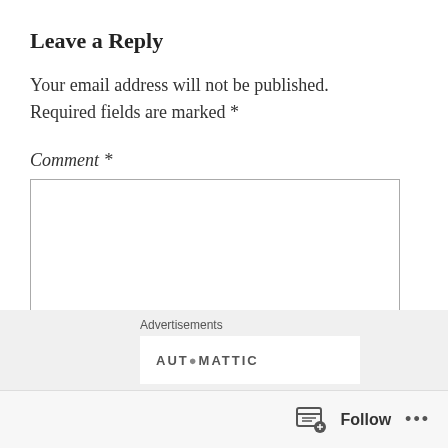Leave a Reply
Your email address will not be published. Required fields are marked *
Comment *
[Figure (other): Empty comment text area input box with border]
Advertisements AUTOMATTIC
Follow ...